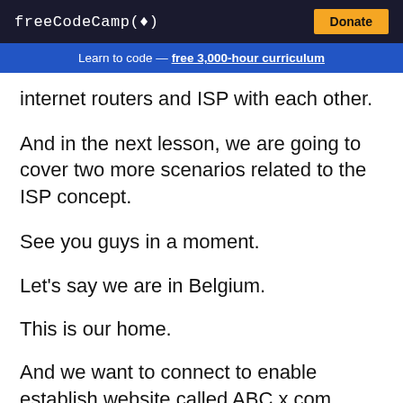freeCodeCamp(🔥)  Donate
Learn to code — free 3,000-hour curriculum
internet routers and ISP with each other.
And in the next lesson, we are going to cover two more scenarios related to the ISP concept.
See you guys in a moment.
Let's say we are in Belgium.
This is our home.
And we want to connect to enable establish website called ABC x com